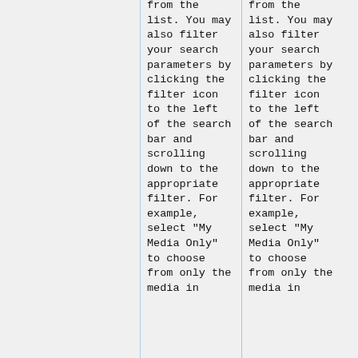from the list.  You may also filter your search parameters by clicking the filter icon to the left of the search bar and scrolling down to the appropriate filter.  For example, select "My Media Only" to choose from only the media in
from the list.  You may also filter your search parameters by clicking the filter icon to the left of the search bar and scrolling down to the appropriate filter.  For example, select "My Media Only" to choose from only the media in